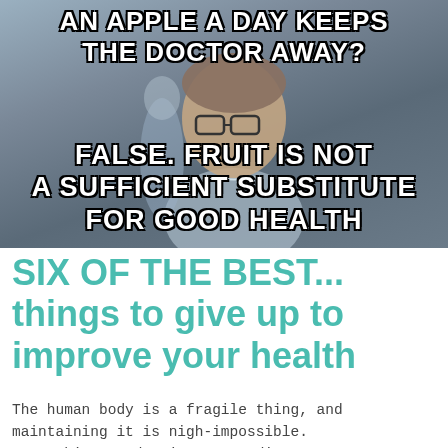[Figure (photo): Meme image with a man wearing glasses (Dwight Schrute character from The Office) with overlaid white block-letter text reading: 'AN APPLE A DAY KEEPS THE DOCTOR AWAY? FALSE. FRUIT IS NOT A SUFFICIENT SUBSTITUTE FOR GOOD HEALTH']
SIX OF THE BEST... things to give up to improve your health
The human body is a fragile thing, and maintaining it is nigh-impossible. Everything we do gives us a disease or